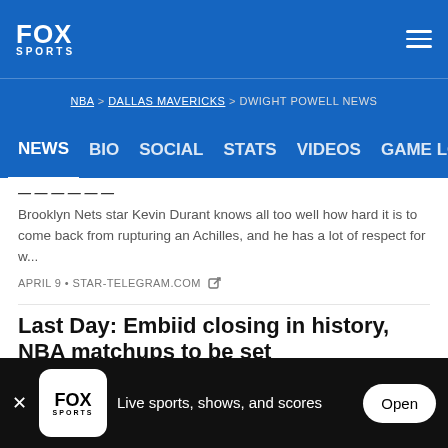FOX SPORTS
NBA > DALLAS MAVERICKS > DWIGHT POWELL NEWS
NEWS   BIO   SOCIAL   STATS   VIDEOS   GAME LOG
Brooklyn Nets star Kevin Durant knows all too well how hard it is to come back from rupturing an Achilles, and he has a lot of respect for w...
APRIL 9 • STAR-TELEGRAM.COM
Last Day: Embiid closing in history, NBA matchups to be set
Joel Embiid is about to make history
Live sports, shows, and scores